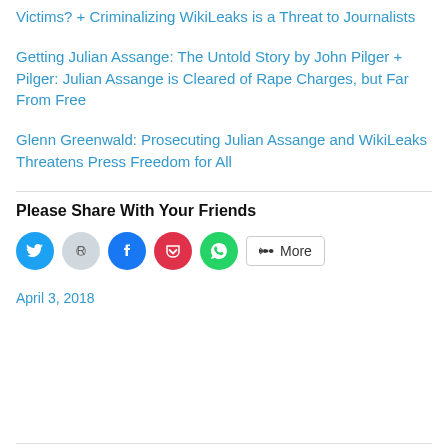Victims? + Criminalizing WikiLeaks is a Threat to Journalists
Getting Julian Assange: The Untold Story by John Pilger + Pilger: Julian Assange is Cleared of Rape Charges, but Far From Free
Glenn Greenwald: Prosecuting Julian Assange and WikiLeaks Threatens Press Freedom for All
Please Share With Your Friends
[Figure (other): Social share buttons: Twitter (blue circle), Reddit (light blue circle), Facebook (dark blue circle), Pocket (red circle), WhatsApp (green circle), and a More button]
April 3, 2018